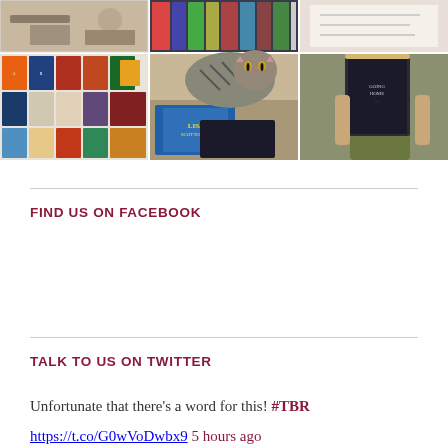[Figure (photo): A 3x2 grid of Instagram-style photos showing book covers, a cat lying on books, and a person holding a book over their face]
FIND US ON FACEBOOK
TALK TO US ON TWITTER
Unfortunate that there's a word for this! #TBR https://t.co/G0wVoDwbx9 5 hours ago